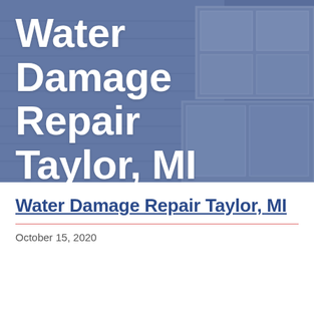[Figure (photo): Hero banner image showing a house exterior with siding and windows, overlaid with a dark blue tint]
Water Damage Repair Taylor, MI
Water Damage Repair Taylor, MI
October 15, 2020
Are you in a tough spot
[Figure (photo): Two side-by-side photos: left shows a bathroom interior with white fixtures; right shows horizontal blinds or siding with water damage]